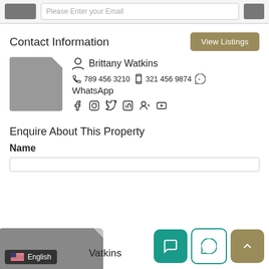Please Enter your Email
Contact Information
[Figure (other): View Listings button]
[Figure (other): Agent photo placeholder (grey document icon)]
Brittany Watkins
789 456 3210   321 456 9874   WhatsApp
Social media icons: Facebook, Instagram, Twitter, LinkedIn, Google+, YouTube
Enquire About This Property
Name
English
Watkins